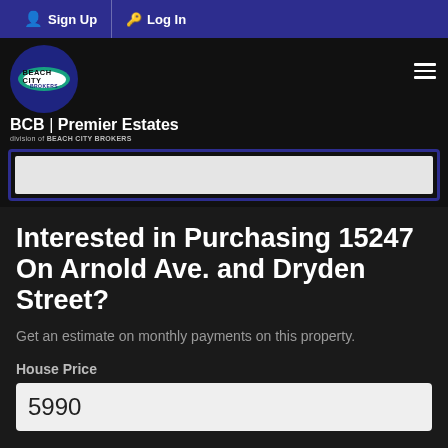Sign Up  Log In
[Figure (logo): Beach City Brokers logo with BCB Premier Estates branding, division of BEACH CITY BROKERS]
[Figure (screenshot): Blue-bordered image/map box with light gray interior]
Interested in Purchasing 15247 On Arnold Ave. and Dryden Street?
Get an estimate on monthly payments on this property.
House Price
5990